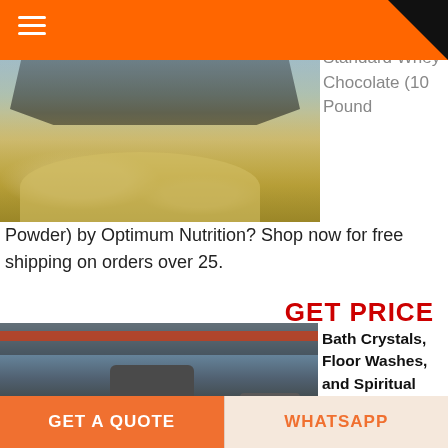[Figure (photo): Mining/quarry scene with heavy machinery, conveyor belts, and large piles of crushed stone aggregate outdoors.]
Standard Whey Chocolate (10 Pound
Powder) by Optimum Nutrition? Shop now for free shipping on orders over 25.
GET PRICE
[Figure (photo): Industrial grinding mill facility interior with large cylindrical silo/mill equipment, conveyor belts overhead, and another large cylinder in the background.]
Bath Crystals, Floor Washes, and Spiritual Soaps for
GET A QUOTE
WHATSAPP